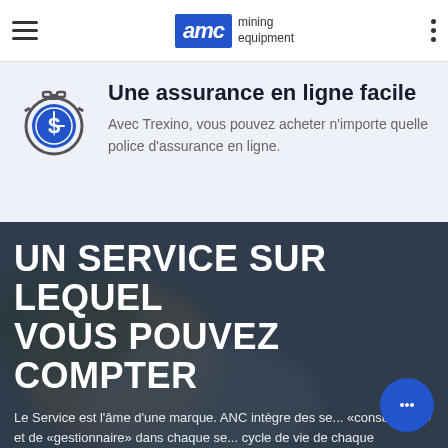AMC mining equipment
Une assurance en ligne facile
Avec Trexino, vous pouvez acheter n'importe quelle police d'assurance en ligne.
UN SERVICE SUR LEQUEL VOUS POUVEZ COMPTER
Le Service est l'âme d'une marque. ANC intègre des se... «consultance» et de «gestionnaire» dans chaque se... cycle de vie de chaque commande, depuis la prévente,...